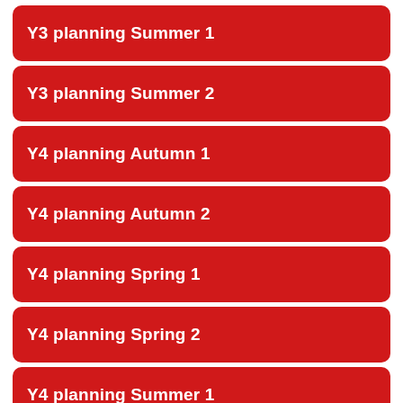Y3 planning Summer 1
Y3 planning Summer 2
Y4 planning Autumn 1
Y4 planning Autumn 2
Y4 planning Spring 1
Y4 planning Spring 2
Y4 planning Summer 1
Y4 planning Summer 2
(partial item)